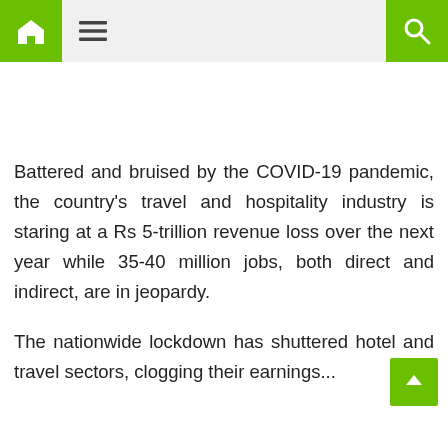Navigation bar with home icon, menu icon, and search icon
Battered and bruised by the COVID-19 pandemic, the country's travel and hospitality industry is staring at a Rs 5-trillion revenue loss over the next year while 35-40 million jobs, both direct and indirect, are in jeopardy.
The nationwide lockdown has shuttered hotel and travel sectors, clogging their earnings...